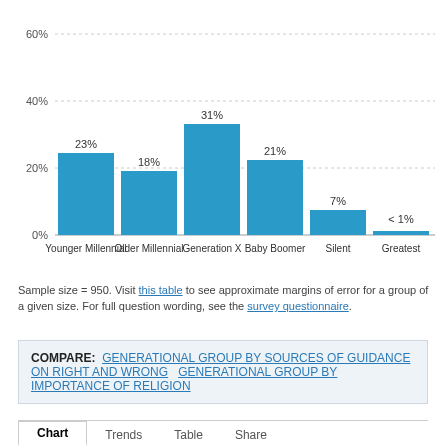[Figure (bar-chart): ]
Sample size = 950. Visit this table to see approximate margins of error for a group of a given size. For full question wording, see the survey questionnaire.
COMPARE: GENERATIONAL GROUP BY SOURCES OF GUIDANCE ON RIGHT AND WRONG   GENERATIONAL GROUP BY IMPORTANCE OF RELIGION
Chart   Trends   Table   Share